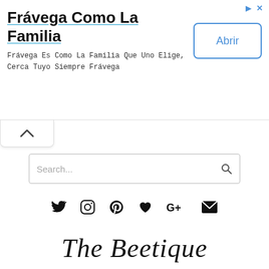[Figure (screenshot): Advertisement banner for Frávega with title, subtitle text, and Abrir button]
Frávega Como La Familia
Frávega Es Como La Familia Que Uno Elige, Cerca Tuyo Siempre Frávega
[Figure (infographic): Collapse/hide tab with upward arrow chevron]
[Figure (screenshot): Search input field with placeholder text 'Search...' and magnifying glass icon]
[Figure (infographic): Row of social media icons: Twitter, Instagram, Pinterest, heart/Bloglovin, Google+, email envelope]
The Beetique